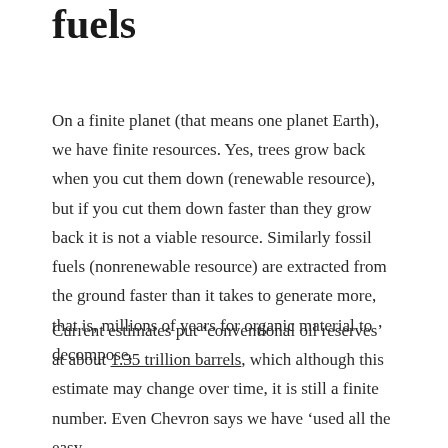fuels
On a finite planet (that means one planet Earth), we have finite resources. Yes, trees grow back when you cut them down (renewable resource), but if you cut them down faster than they grow back it is not a viable resource. Similarly fossil fuels (nonrenewable resource) are extracted from the ground faster than it takes to generate more, that is, millions of years for organic material to decompose.
Current estimates put ‘conventional oil reserves’ at about 1.35 trillion barrels, which although this estimate may change over time, it is still a finite number. Even Chevron says we have ‘used all the easy